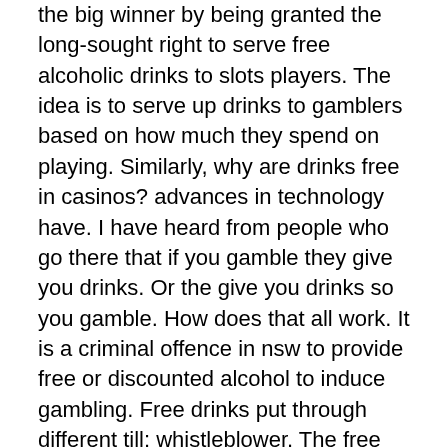the big winner by being granted the long-sought right to serve free alcoholic drinks to slots players. The idea is to serve up drinks to gamblers based on how much they spend on playing. Similarly, why are drinks free in casinos? advances in technology have. I have heard from people who go there that if you gamble they give you drinks. Or the give you drinks so you gamble. How does that all work. It is a criminal offence in nsw to provide free or discounted alcohol to induce gambling. Free drinks put through different till: whistleblower. The free drinks at casinos make everyone feel like a winner. However, several casinos are killing the buzz: select properties in nevada. Yes it's true – you can still score free drinks while gambling in las vegas casinos there are a few caveats though and don't expect them to. No, not as a rule. Drinks are free, so long as you are playing. If you get a players reward card, which accumulates points as you play, you